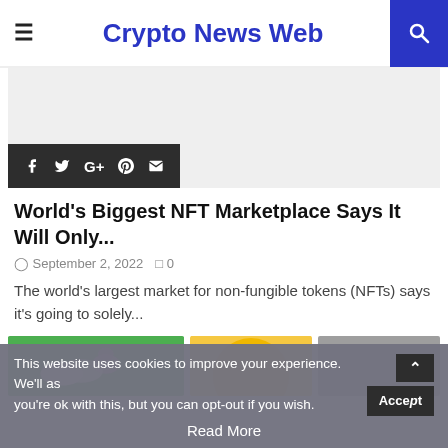Crypto News Web
[Figure (screenshot): Advertisement banner area (gray background) with social sharing bar (Facebook, Twitter, Google+, Pinterest, Email icons on dark background)]
World's Biggest NFT Marketplace Says It Will Only...
September 2, 2022   0
The world's largest market for non-fungible tokens (NFTs) says it's going to solely...
[Figure (photo): Row of article thumbnail images: green background with illustrated items, yellow/orange circle, gray block]
This website uses cookies to improve your experience. We'll as you're ok with this, but you can opt-out if you wish. Accept Read More